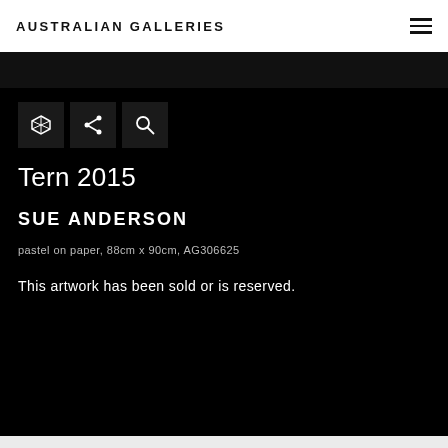Australian Galleries
Tern 2015
SUE ANDERSON
pastel on paper, 88cm x 90cm, AG306625
This artwork has been sold or is reserved.